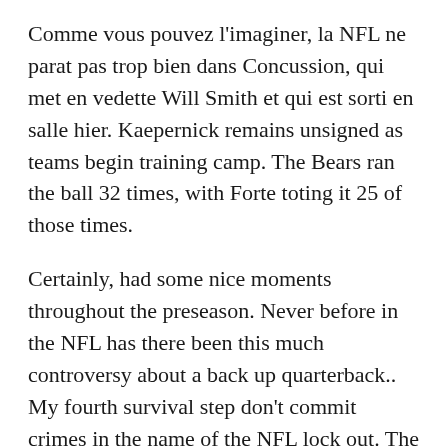Comme vous pouvez l'imaginer, la NFL ne parat pas trop bien dans Concussion, qui met en vedette Will Smith et qui est sorti en salle hier. Kaepernick remains unsigned as teams begin training camp. The Bears ran the ball 32 times, with Forte toting it 25 of those times.
Certainly, had some nice moments throughout the preseason. Never before in the NFL has there been this much controversy about a back up quarterback.. My fourth survival step don't commit crimes in the name of the NFL lock out. The Chicago White Sox of American League won the World Series championship during 2005.
Options on offense in his absence would be to utilize more single back or empty sets, have a guard or tight end line up on occasion as a lead blocker or even use running back Marshawn Lynch in that role on carries for DeAndre Washington or Jalen Richard..